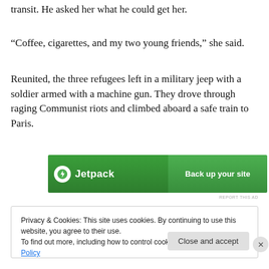transit. He asked her what he could get her.
“Coffee, cigarettes, and my two young friends,” she said.
Reunited, the three refugees left in a military jeep with a soldier armed with a machine gun. They drove through raging Communist riots and climbed aboard a safe train to Paris.
[Figure (other): Jetpack advertisement banner: green background with Jetpack logo and 'Back up your site' call to action button]
REPORT THIS AD
Privacy & Cookies: This site uses cookies. By continuing to use this website, you agree to their use.
To find out more, including how to control cookies, see here: Cookie Policy
Close and accept